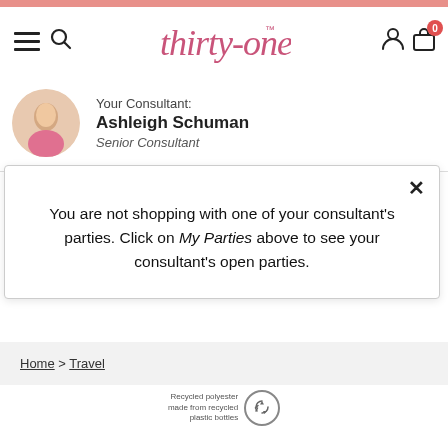[Figure (screenshot): Thirty-One website navigation header with hamburger menu, search icon, Thirty-One logo in pink cursive, user icon, and shopping bag icon with badge showing 0]
Your Consultant:
Ashleigh Schuman
Senior Consultant
You are not shopping with one of your consultant's parties. Click on My Parties above to see your consultant's open parties.
Home > Travel
[Figure (logo): Recycled polyester made from recycled plastic bottles badge with recycling icon]